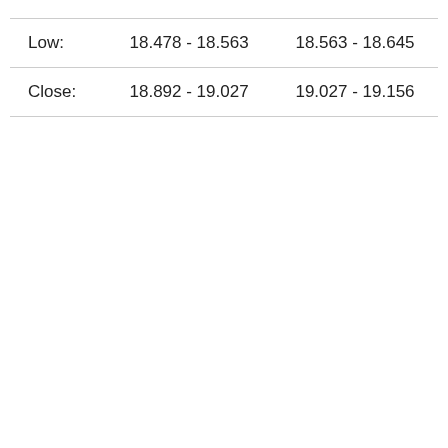| Low: | 18.478 - 18.563 | 18.563 - 18.645 |
| Close: | 18.892 - 19.027 | 19.027 - 19.156 |